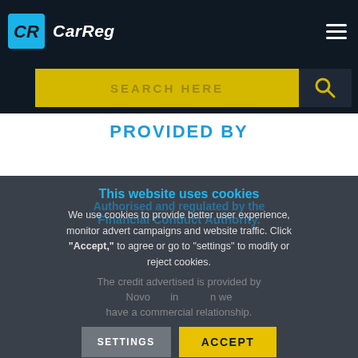CarReg
[Figure (screenshot): CarReg logo with CR icon in blue and white italic text on dark navy background, and hamburger menu icon on the right]
[Figure (screenshot): Yellow search bar with text SEARCH HERE and dark search button with magnifying glass icon]
PROVIDED BY
This website uses cookies
We use cookies to provide better user experience, monitor advert campaigns and website traffic. Click "Accept," to agree or go to "settings" to modify or reject cookies.
The credit advertised is provided by Novo... in ... n we have a commercial relationship.
After requesting finance, you will receive